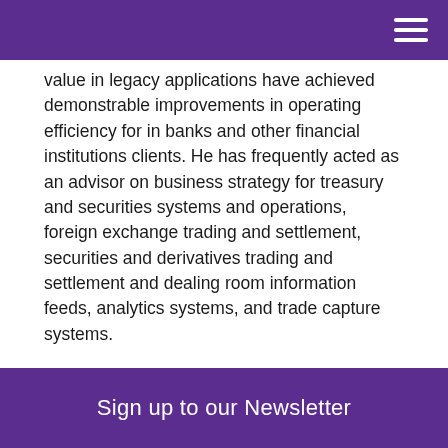value in legacy applications have achieved demonstrable improvements in operating efficiency for in banks and other financial institutions clients. He has frequently acted as an advisor on business strategy for treasury and securities systems and operations, foreign exchange trading and settlement, securities and derivatives trading and settlement and dealing room information feeds, analytics systems, and trade capture systems.
"Having worked with Basis Point Group partners for a number of years, we are pleased to combine our practices with a firm focused on the same high standards of client value, service and integrity," said Sullivan, the new managing director for the London
Sign up to our Newsletter